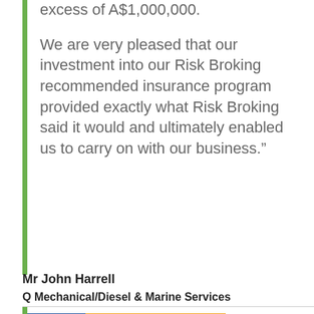excess of A$1,000,000.
We are very pleased that our investment into our Risk Broking recommended insurance program provided exactly what Risk Broking said it would and ultimately enabled us to carry on with our business.”
Mr John Harrell
Q Mechanical/Diesel & Marine Services
[Figure (logo): Q Mechanical Services logo with blue square containing stylized Q letter on left and orange rectangle with text MECHANICAL SERVICES on right]